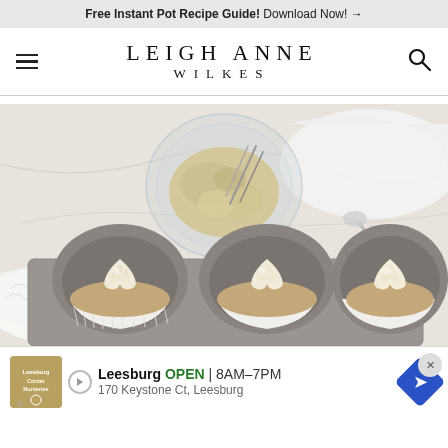Free Instant Pot Recipe Guide! Download Now! →
LEIGH ANNE WILKES
[Figure (photo): Overhead view of a glass bowl with cookie dough/batter and a fork, and a metal muffin tin with three frosted cupcakes piped with star-tip cream cheese frosting, on a white marble surface with white linen.]
Leesburg OPEN 8AM–7PM 170 Keystone Ct, Leesburg